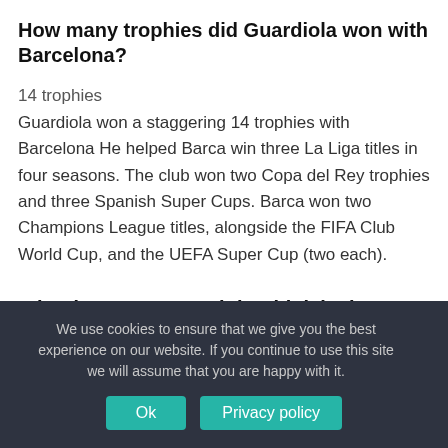How many trophies did Guardiola won with Barcelona?
14 trophies
Guardiola won a staggering 14 trophies with Barcelona He helped Barca win three La Liga titles in four seasons. The club won two Copa del Rey trophies and three Spanish Super Cups. Barca won two Champions League titles, alongside the FIFA Club World Cup, and the UEFA Super Cup (two each).
Who does Jose Mourinho think is the goat?
We use cookies to ensure that we give you the best experience on our website. If you continue to use this site we will assume that you are happy with it.